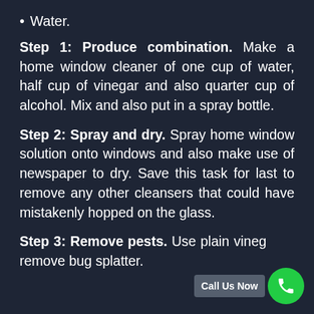Water.
Step 1: Produce combination. Make a home window cleaner of one cup of water, half cup of vinegar and also quarter cup of alcohol. Mix and also put in a spray bottle.
Step 2: Spray and dry. Spray home window solution onto windows and also make use of newspaper to dry. Save this task for last to remove any other cleansers that could have mistakenly hopped on the glass.
Step 3: Remove pests. Use plain vinegar to remove bug splatter.